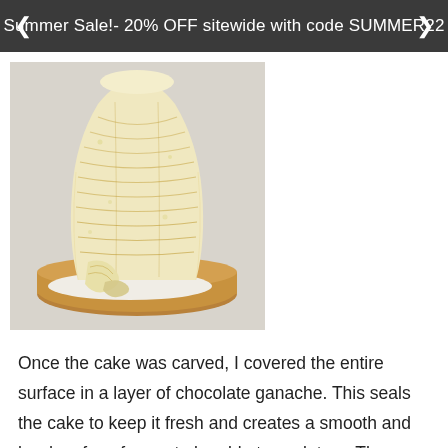Summer Sale!- 20% OFF sitewide with code SUMMER22
[Figure (photo): A tall stacked cake carved into a sculpted shape, covered in pale yellow textured coating with horizontal grooves/lines, sitting on a wooden board. The cake appears to have layers visible from the side, with some pieces falling away at the base.]
Once the cake was carved, I covered the entire surface in a layer of chocolate ganache. This seals the cake to keep it fresh and creates a smooth and hard surface for me to be able to sculpt on. The recipe for my chocolate ganache can